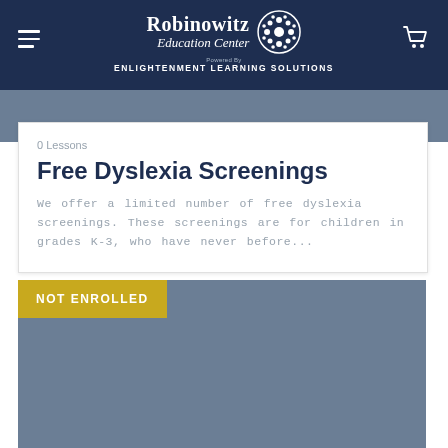Robinowitz Education Center — Powered By ENLIGHTENMENT LEARNING SOLUTIONS
0 Lessons
Free Dyslexia Screenings
We offer a limited number of free dyslexia screenings. These screenings are for children in grades K-3, who have never before...
NOT ENROLLED